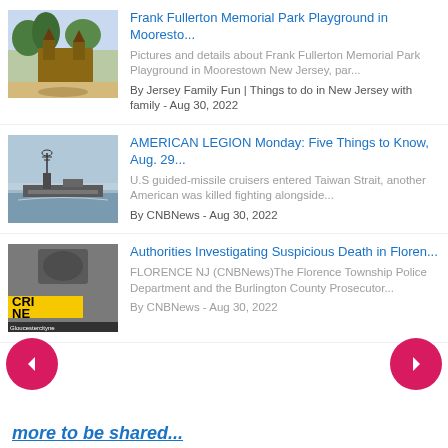[Figure (photo): Thumbnail of Frank Fullerton Memorial Park Playground]
Frank Fullerton Memorial Park Playground in Mooresto...
Pictures and details about Frank Fullerton Memorial Park Playground in Moorestown New Jersey, par...
By Jersey Family Fun | Things to do in New Jersey with family - Aug 30, 2022
[Figure (photo): Thumbnail of military ship at sea]
AMERICAN LEGION Monday: Five Things to Know, Aug. 29...
U.S guided-missile cruisers entered Taiwan Strait, another American was killed fighting alongside...
By CNBNews - Aug 30, 2022
[Figure (photo): Crime News thumbnail with yellow CRIME NEWS banner]
Authorities Investigating Suspicious Death in Floren...
FLORENCE NJ (CNBNews)The Florence Township Police Department and the Burlington County Prosecutor...
By CNBNews - Aug 30, 2022
more to be shared...